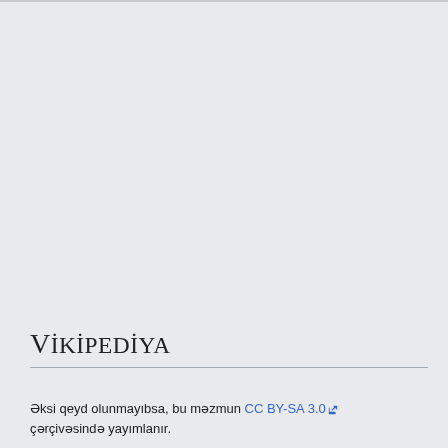VikipediyA
Əksi qeyd olunmayıbsa, bu məzmun CC BY-SA 3.0 çərçivəsində yayımlanır.